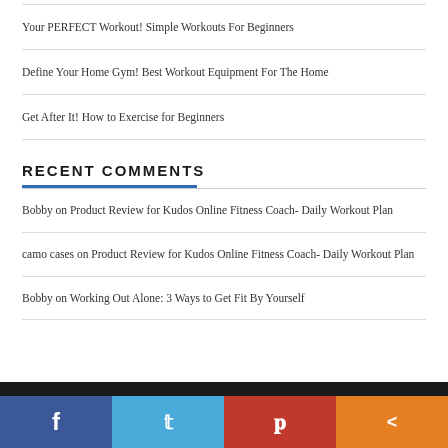Your PERFECT Workout! Simple Workouts For Beginners
Define Your Home Gym! Best Workout Equipment For The Home
Get After It! How to Exercise for Beginners
RECENT COMMENTS
Bobby on Product Review for Kudos Online Fitness Coach- Daily Workout Plan
camo cases on Product Review for Kudos Online Fitness Coach- Daily Workout Plan
Bobby on Working Out Alone: 3 Ways to Get Fit By Yourself